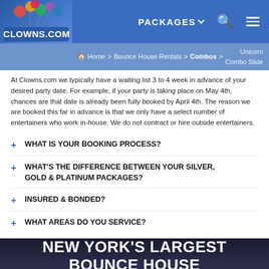Clowns.com — PACKAGES | Home > Bounce House Rentals > Combos > Unicorn Combo Slide
At Clowns.com we typically have a waiting list 3 to 4 week in advance of your desired party date. For example, if your party is taking place on May 4th, chances are that date is already been fully booked by April 4th. The reason we are booked this far in advance is that we only have a select number of entertainers who work in-house. We do not contract or hire outside entertainers.
WHAT IS YOUR BOOKING PROCESS?
WHAT'S THE DIFFERENCE BETWEEN YOUR SILVER, GOLD & PLATINUM PACKAGES?
INSURED & BONDED?
WHAT AREAS DO YOU SERVICE?
NEW YORK'S LARGEST BOUNCE HOUSE COMPANY